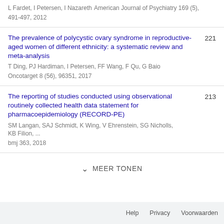L Fardet, I Petersen, I Nazareth
American Journal of Psychiatry 169 (5), 491-497, 2012
The prevalence of polycystic ovary syndrome in reproductive-aged women of different ethnicity: a systematic review and meta-analysis
T Ding, PJ Hardiman, I Petersen, FF Wang, F Qu, G Baio
Oncotarget 8 (56), 96351, 2017
The reporting of studies conducted using observational routinely collected health data statement for pharmacoepidemiology (RECORD-PE)
SM Langan, SAJ Schmidt, K Wing, V Ehrenstein, SG Nicholls, KB Filion, ...
bmj 363, 2018
MEER TONEN
Help   Privacy   Voorwaarden